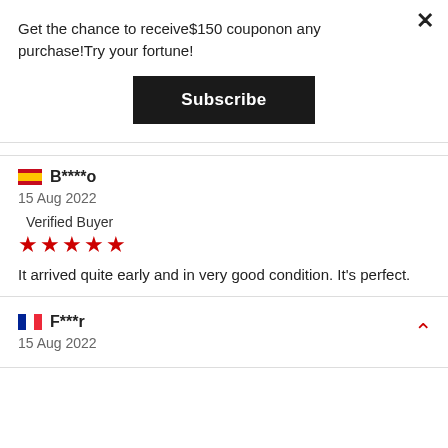Get the chance to receive$150 couponon any purchase!Try your fortune!
Subscribe
B****o
15 Aug 2022
Verified Buyer
★★★★★
It arrived quite early and in very good condition. It's perfect.
F***r
15 Aug 2022